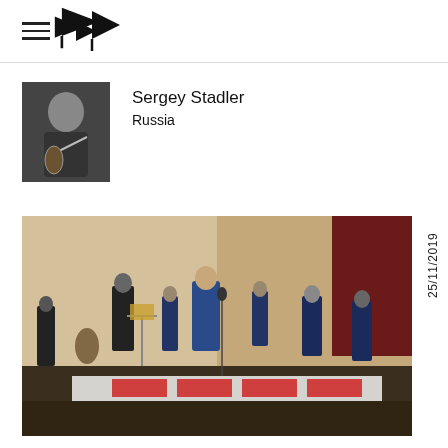Navigation header with hamburger menu and logo
Sergey Stadler
Russia
[Figure (photo): Portrait of Sergey Stadler holding a violin bow, wearing black clothing]
[Figure (photo): Concert photo showing a large jazz/orchestra ensemble performing on stage in a concert hall, musicians in suits, various instruments including saxophones, trombones, double bass, trumpets]
25/11/2019